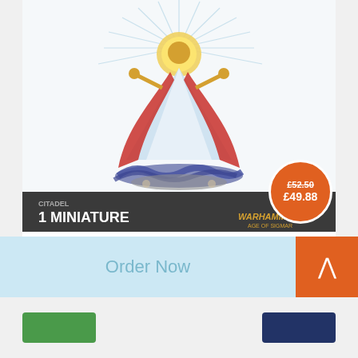[Figure (photo): Product box art for Celestant-Prime Warhammer Age of Sigmar Citadel 1 Miniature. Shows a golden armoured celestial figure with a radiant halo, red cape, and serpentine coils at the base. A circular orange price badge overlays the bottom right showing £52.50 struck through and £49.88.]
Celestant-Prime
Order Now
[Figure (other): Orange scroll-to-top button with white upward chevron arrow]